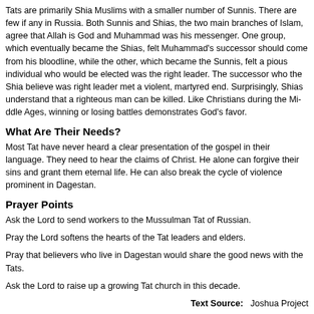Tats are primarily Shia Muslims with a smaller number of Sunnis. There are few if any in Russia. Both Sunnis and Shias, the two main branches of Islam, agree that Allah is God and Muhammad was his messenger. One group, which eventually became the Shias, felt Muhammad's successor should come from his bloodline, while the other, which became the Sunnis, felt a pious individual who would be elected was the right leader. The successor who the Shia believe was right leader met a violent, martyred end. Surprisingly, Shias understand that a righteous man can be killed. Like Christians during the Middle Ages, winning or losing battles demonstrates God's favor.
What Are Their Needs?
Most Tat have never heard a clear presentation of the gospel in their language. They need to hear the claims of Christ. He alone can forgive their sins and grant them eternal life. He can also break the cycle of violence prominent in Dagestan.
Prayer Points
Ask the Lord to send workers to the Mussulman Tat of Russian.
Pray the Lord softens the hearts of the Tat leaders and elders.
Pray that believers who live in Dagestan would share the good news with the Tats.
Ask the Lord to raise up a growing Tat church in this decade.
Text Source:   Joshua Project
Full Joshua Project profile at: www.joshuaproject.net/people